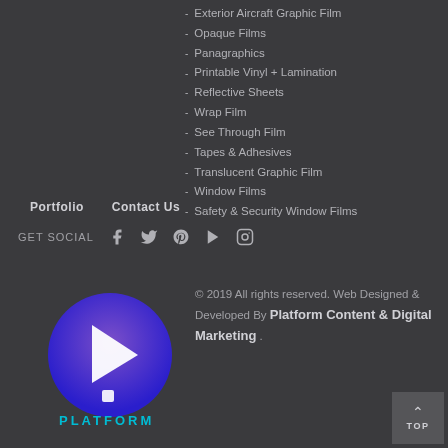Exterior Aircraft Graphic Film
Opaque Films
Panagraphics
Printable Vinyl + Lamination
Reflective Sheets
Wrap Film
See Through Film
Tapes & Adhesives
Translucent Graphic Film
Window Films
Safety & Security Window Films
Portfolio    Contact Us
GET SOCIAL
[Figure (logo): Platform Content & Digital Marketing logo — circular gradient purple icon with play arrow and exclamation design, with PLATFORM text below in cyan]
© 2019 All rights reserved. Web Designed & Developed By Platform Content & Digital Marketing .